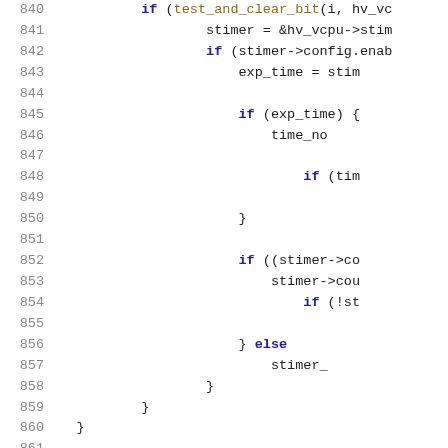[Figure (screenshot): Source code viewer showing lines 840-861 of a C/C++ kernel file, with syntax highlighting. Line numbers in gray on left, keywords in dark blue/bold, function names in olive/gold, punctuation in dark gray. Background is white.]